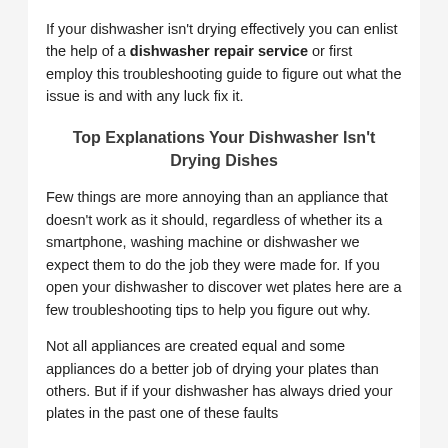If your dishwasher isn't drying effectively you can enlist the help of a dishwasher repair service or first employ this troubleshooting guide to figure out what the issue is and with any luck fix it.
Top Explanations Your Dishwasher Isn't Drying Dishes
Few things are more annoying than an appliance that doesn't work as it should, regardless of whether its a smartphone, washing machine or dishwasher we expect them to do the job they were made for. If you open your dishwasher to discover wet plates here are a few troubleshooting tips to help you figure out why.
Not all appliances are created equal and some appliances do a better job of drying your plates than others. But if if your dishwasher has always dried your plates in the past one of these faults